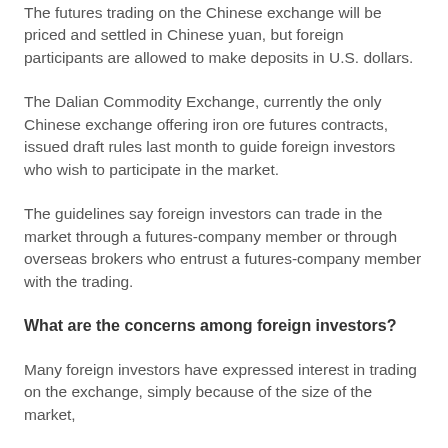The futures trading on the Chinese exchange will be priced and settled in Chinese yuan, but foreign participants are allowed to make deposits in U.S. dollars.
The Dalian Commodity Exchange, currently the only Chinese exchange offering iron ore futures contracts, issued draft rules last month to guide foreign investors who wish to participate in the market.
The guidelines say foreign investors can trade in the market through a futures-company member or through overseas brokers who entrust a futures-company member with the trading.
What are the concerns among foreign investors?
Many foreign investors have expressed interest in trading on the exchange, simply because of the size of the market,